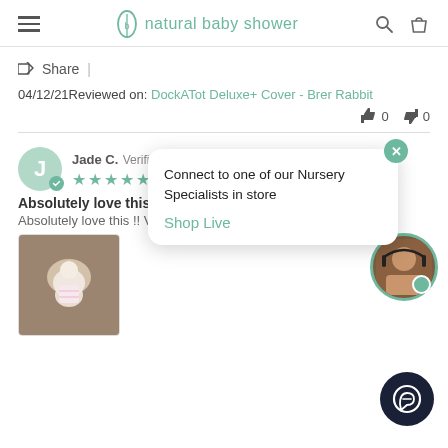natural baby shower
Share |
04/12/21 Reviewed on: DockATot Deluxe+ Cover - Brer Rabbit
👍 0  👎 0
Jade C. Verified Buyer — ★★★★★
Absolutely love this !!
Absolutely love this !! Ve…
[Figure (photo): Photo of baby in DockATot]
Connect to one of our Nursery Specialists in store
Shop Live
[Figure (photo): Nursery specialist headset photo circle avatar]
[Figure (screenshot): Chat button dark circle with headset icon]